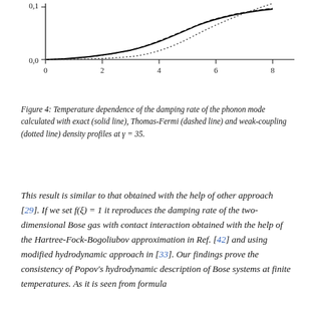[Figure (continuous-plot): Bottom portion of a plot showing temperature dependence of damping rate. Y-axis shows values 0,0 and 0,1. X-axis goes from 0 to 8 with ticks at 0,2,4,6,8. Three curves: solid line, dashed line (nearly overlapping with solid), and dotted line (diverges upward at high x). All curves start near zero and increase, with dotted line rising fastest at large x values.]
Figure 4: Temperature dependence of the damping rate of the phonon mode calculated with exact (solid line), Thomas-Fermi (dashed line) and weak-coupling (dotted line) density profiles at γ = 35.
This result is similar to that obtained with the help of other approach [29]. If we set f(ξ) = 1 it reproduces the damping rate of the two-dimensional Bose gas with contact interaction obtained with the help of the Hartree-Fock-Bogoliubov approximation in Ref. [42] and using modified hydrodynamic approach in [33]. Our findings prove the consistency of Popov's hydrodynamic description of Bose systems at finite temperatures. As it is seen from formula